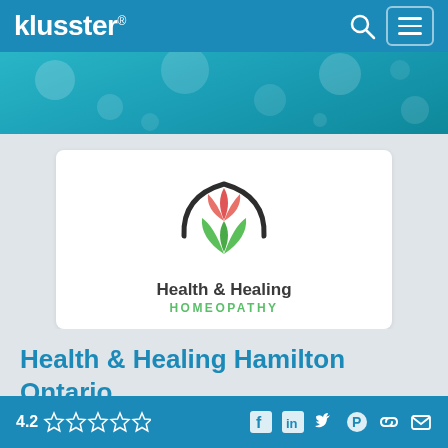klusster®
[Figure (logo): Health & Healing Homeopathy logo — lotus flower in pink/red and green with dark circular arc, text 'Health & Healing HOMEOPATHY']
Health & Healing Hamilton Ontario
Please enjoy our health-based publication on Homeopathy
4.2 ★★★★☆ (rating) — social icons: Facebook, LinkedIn, Twitter, Pinterest, Link, Email